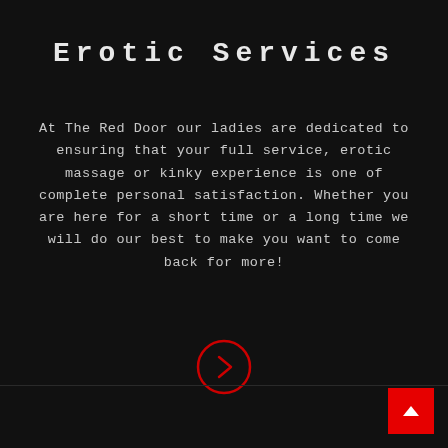Erotic Services
At The Red Door our ladies are dedicated to ensuring that your full service, erotic massage or kinky experience is one of complete personal satisfaction. Whether you are here for a short time or a long time we will do our best to make you want to come back for more!
[Figure (illustration): Red circle with a right-pointing chevron arrow inside, acting as a navigation button]
[Figure (illustration): Red square scroll-to-top button with a white upward-pointing chevron arrow]